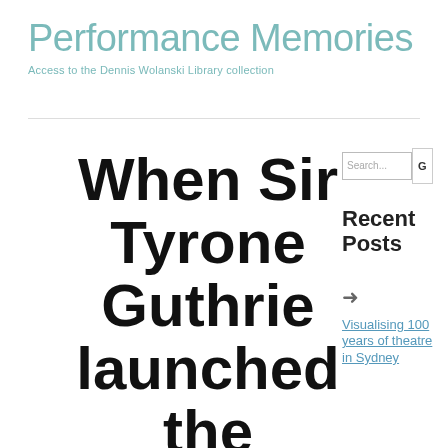Performance Memories
Access to the Dennis Wolanski Library collection
When Sir Tyrone Guthrie launched the Sir John Clancy
Recent Posts
Visualising 100 years of theatre in Sydney